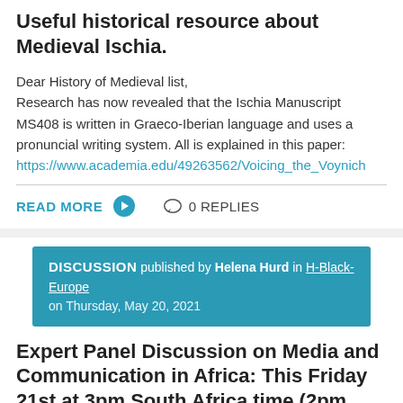Useful historical resource about Medieval Ischia.
Dear History of Medieval list,
Research has now revealed that the Ischia Manuscript MS408 is written in Graeco-Iberian language and uses a pronuncial writing system. All is explained in this paper: https://www.academia.edu/49263562/Voicing_the_Voynich
READ MORE  0 REPLIES
DISCUSSION published by Helena Hurd in H-Black-Europe on Thursday, May 20, 2021
Expert Panel Discussion on Media and Communication in Africa: This Friday 21st at 3pm South Africa time (2pm